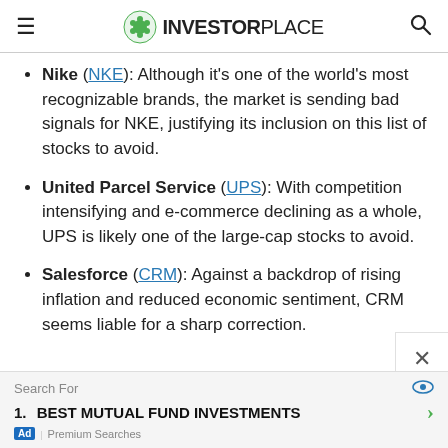INVESTORPLACE
Nike (NKE): Although it's one of the world's most recognizable brands, the market is sending bad signals for NKE, justifying its inclusion on this list of stocks to avoid.
United Parcel Service (UPS): With competition intensifying and e-commerce declining as a whole, UPS is likely one of the large-cap stocks to avoid.
Salesforce (CRM): Against a backdrop of rising inflation and reduced economic sentiment, CRM seems liable for a sharp correction.
Search For | 1. BEST MUTUAL FUND INVESTMENTS | Ad | Premium Searches